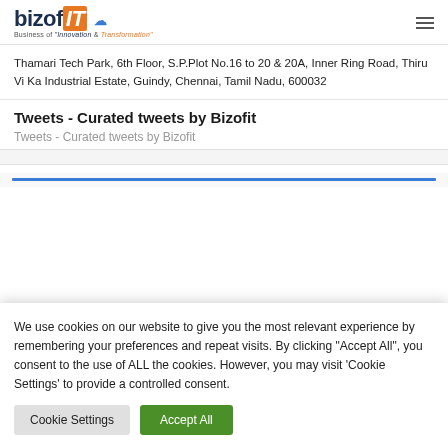bizofit logo — Business of 'Innovation & Transformation'
Thamari Tech Park, 6th Floor, S.P.Plot No.16 to 20 & 20A, Inner Ring Road, Thiru Vi Ka Industrial Estate, Guindy, Chennai, Tamil Nadu, 600032
Tweets - Curated tweets by Bizofit
Tweets - Curated tweets by Bizofit
We use cookies on our website to give you the most relevant experience by remembering your preferences and repeat visits. By clicking "Accept All", you consent to the use of ALL the cookies. However, you may visit 'Cookie Settings' to provide a controlled consent.